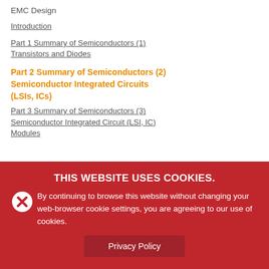EMC Design
Introduction
Part 1 Summary of Semiconductors (1) Transistors and Diodes
Part 2 Summary of Semiconductors (2) Semiconductor Integrated Circuits (LSIs, ICs)
Part 3 Summary of Semiconductors (3) Semiconductor Integrated Circuit (LSI, IC) Modules
THIS WEBSITE USES COOKIES. By continuing to browse this website without changing your web-browser cookie settings, you are agreeing to our use of cookies.
Privacy Policy